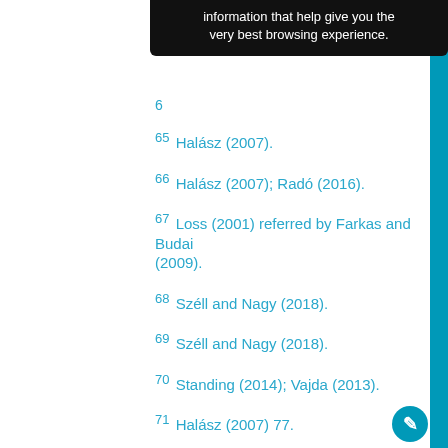information that help give you the very best browsing experience.
65 Halász (2007).
66 Halász (2007); Radó (2016).
67 Loss (2001) referred by Farkas and Budai (2009).
68 Széll and Nagy (2018).
69 Széll and Nagy (2018).
70 Standing (2014); Vajda (2013).
71 Halász (2007) 77.
72 Radó (2016) 52–53.
73 Halász (2007); Radó (2016).